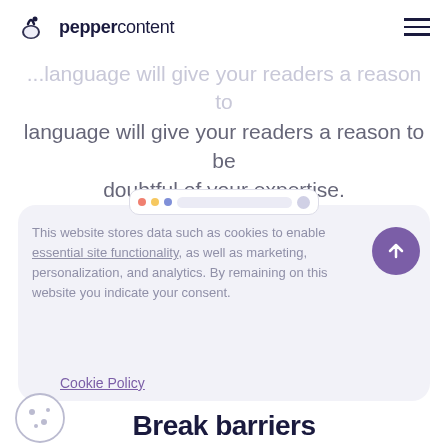peppercontent
language will give your readers a reason to be doubtful of your expertise.
[Figure (screenshot): Cookie consent banner overlay on a browser window mockup showing text about website data storage and a purple scroll-to-top button]
Cookie Policy
Break barriers